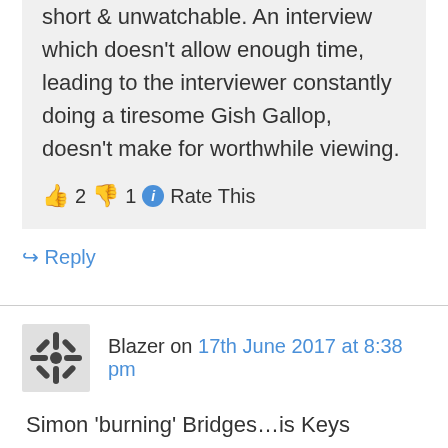idiots are usually equally short & unwatchable. An interview which doesn't allow enough time, leading to the interviewer constantly doing a tiresome Gish Gallop, doesn't make for worthwhile viewing.
👍 2 👎 1 ℹ Rate This
↪ Reply
Blazer on 17th June 2017 at 8:38 pm
Simon 'burning' Bridges…is Keys ..apprentice.He trys to mimic Key when doing